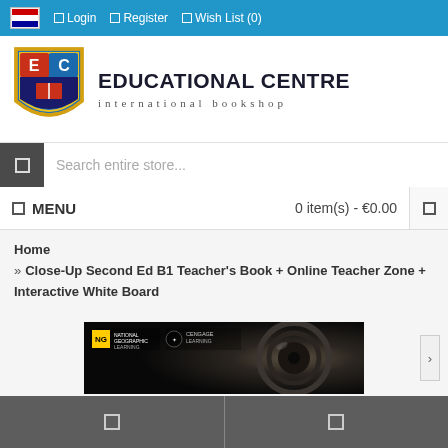Login  Register  Wish List (0)
[Figure (logo): Educational Centre international bookshop logo with shield emblem]
Search entire store...
MENU   0 item(s) - €0.00
Home
» Close-Up Second Ed B1 Teacher's Book + Online Teacher Zone + Interactive White Board
[Figure (photo): Close-Up Second Edition book cover showing camera lens detail with National Geographic Learning and Cengage Learning logos]
Navigation icons footer